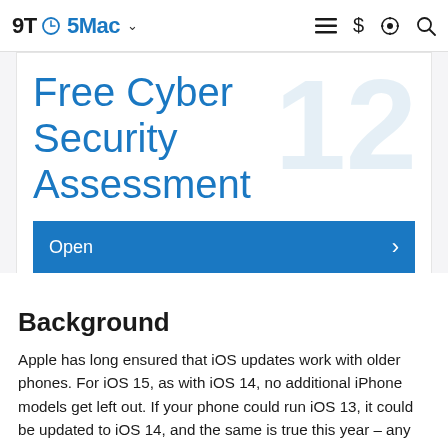9TO5Mac
[Figure (screenshot): Advertisement banner for Free Cyber Security Assessment with blue text on white background and a blue Open button]
Background
Apple has long ensured that iOS updates work with older phones. For iOS 15, as with iOS 14, no additional iPhone models get left out. If your phone could run iOS 13, it could be updated to iOS 14, and the same is true this year – any model capable of running iOS 14 will also be able to run iOS 15.